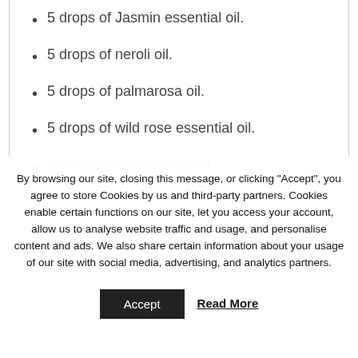5 drops of Jasmin essential oil.
5 drops of neroli oil.
5 drops of palmarosa oil.
5 drops of wild rose essential oil.
5 drops of sandalwood oil.
By browsing our site, closing this message, or clicking “Accept”, you agree to store Cookies by us and third-party partners. Cookies enable certain functions on our site, let you access your account, allow us to analyse website traffic and usage, and personalise content and ads. We also share certain information about your usage of our site with social media, advertising, and analytics partners.
Accept
Read More